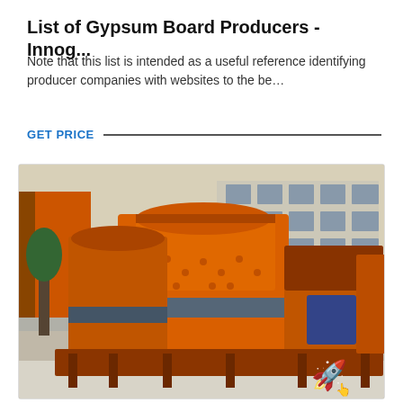List of Gypsum Board Producers - Innog...
Note that this list is intended as a useful reference identifying producer companies with websites to the be…
GET PRICE
[Figure (photo): Outdoor photograph of large orange industrial crushing/grinding machines (likely impact crushers or hammer mills) parked in a yard in front of a factory building. A small rocket emoji/icon is visible in the lower-right corner of the photo.]